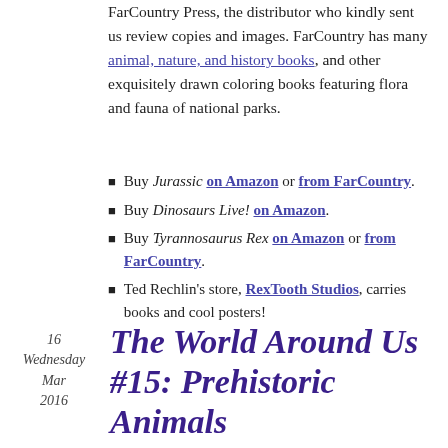FarCountry Press, the distributor who kindly sent us review copies and images. FarCountry has many animal, nature, and history books, and other exquisitely drawn coloring books featuring flora and fauna of national parks.
Buy Jurassic on Amazon or from FarCountry.
Buy Dinosaurs Live! on Amazon.
Buy Tyrannosaurus Rex on Amazon or from FarCountry.
Ted Rechlin's store, RexTooth Studios, carries books and cool posters!
16 Wednesday Mar 2016
The World Around Us #15: Prehistoric Animals